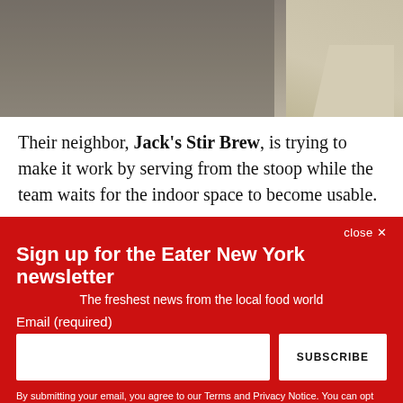[Figure (photo): Partial photo of a concrete surface and pavement with a white road marking visible on the right side]
Their neighbor, Jack's Stir Brew, is trying to make it work by serving from the stoop while the team waits for the indoor space to become usable.
close ✕
Sign up for the Eater New York newsletter
The freshest news from the local food world
Email (required)
SUBSCRIBE
By submitting your email, you agree to our Terms and Privacy Notice. You can opt out at any time. This site is protected by reCAPTCHA and the Google Privacy Policy and Terms of Service apply.